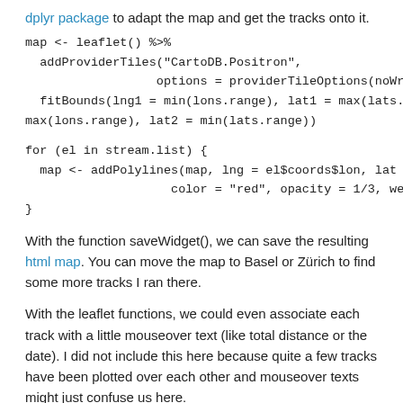dplyr package to adapt the map and get the tracks onto it.
map <- leaflet() %>%
  addProviderTiles("CartoDB.Positron",
                  options = providerTileOptions(noWrap = T)) %>%
  fitBounds(lng1 = min(lons.range), lat1 = max(lats.range), lng2 <-
max(lons.range), lat2 = min(lats.range))
for (el in stream.list) {
  map <- addPolylines(map, lng = el$coords$lon, lat = el$coords$lat,
                    color = "red", opacity = 1/3, weight = 2)
}
With the function saveWidget(), we can save the resulting html map. You can move the map to Basel or Zürich to find some more tracks I ran there.
With the leaflet functions, we could even associate each track with a little mouseover text (like total distance or the date). I did not include this here because quite a few tracks have been plotted over each other and mouseover texts might just confuse us here.
Have fun running and plotting.